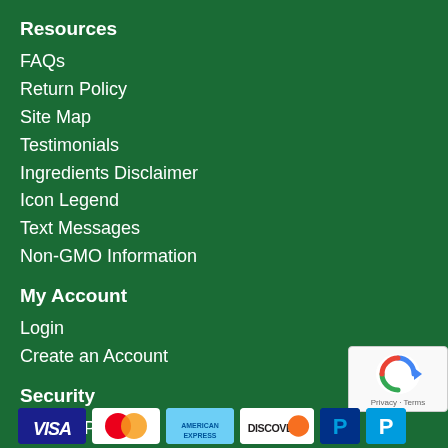Resources
FAQs
Return Policy
Site Map
Testimonials
Ingredients Disclaimer
Icon Legend
Text Messages
Non-GMO Information
My Account
Login
Create an Account
Security
Privacy Policy
Terms of Use
[Figure (logo): Payment method logos: Visa, Mastercard, American Express, Discover, PayPal]
[Figure (logo): reCAPTCHA badge with Privacy and Terms links]